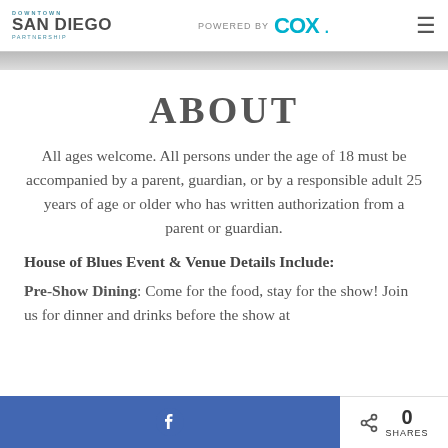DOWNTOWN SAN DIEGO PARTNERSHIP | POWERED BY COX
ABOUT
All ages welcome. All persons under the age of 18 must be accompanied by a parent, guardian, or by a responsible adult 25 years of age or older who has written authorization from a parent or guardian.
House of Blues Event & Venue Details Include:
Pre-Show Dining: Come for the food, stay for the show! Join us for dinner and drinks before the show at
Facebook share button | 0 SHARES